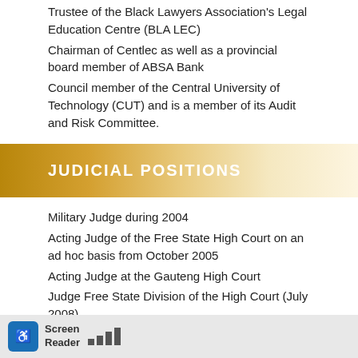Trustee of the Black Lawyers Association's Legal Education Centre (BLA LEC)
Chairman of Centlec as well as a provincial board member of ABSA Bank
Council member of the Central University of Technology (CUT) and is a member of its Audit and Risk Committee.
JUDICIAL POSITIONS
Military Judge during 2004
Acting Judge of the Free State High Court on an ad hoc basis from October 2005
Acting Judge at the Gauteng High Court
Judge Free State Division of the High Court (July 2008)
Judge President Free State Division of the High Court (01 January 2015)
Judge of the Labour Appeal Court
Acting Judge of the Competition Appeal Court
acting Justice of the Constitutional Court (2015)
Screen Reader